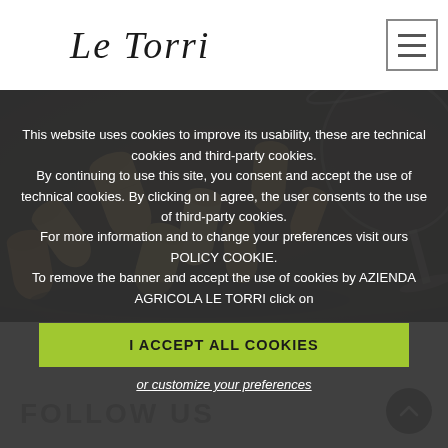Le Torri
[Figure (photo): Wine corks scattered from a tipped wine glass on a dark surface, photographed in low light with dark background]
This website uses cookies to improve its usability, these are technical cookies and third-party cookies. By continuing to use this site, you consent and accept the use of technical cookies. By clicking on I agree, the user consents to the use of third-party cookies. For more information and to change your preferences visit ours POLICY COOKIE. To remove the banner and accept the use of cookies by AZIENDA AGRICOLA LE TORRI click on
I ACCEPT ALL COOKIES
or customize your preferences